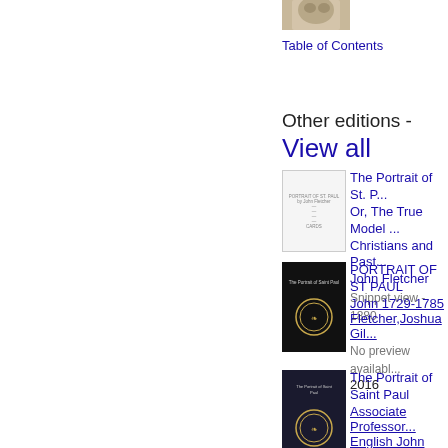[Figure (photo): Top portion of a book cover image, partially visible]
Table of Contents
Other editions - View all
[Figure (photo): Small text-based book cover thumbnail for 'The Portrait of St. Paul']
The Portrait of St. P... Or, The True Model ... Christians and Past... John Fletcher
Snippet view - 1880
[Figure (photo): Black book cover with gold laurel wreath for PORTRAIT OF ST PAUL]
PORTRAIT OF ST PAUL
John 1729-1785 Fletcher,Joshua Gil...
No preview availabl...
2016
[Figure (photo): Dark navy book cover with laurel wreath for The Portrait of Saint Paul]
The Portrait of Saint Paul
Associate Professor...
English John